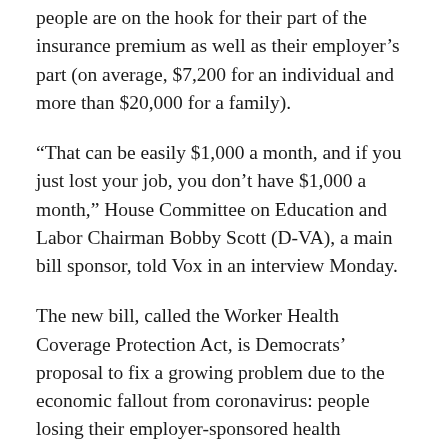people are on the hook for their part of the insurance premium as well as their employer's part (on average, $7,200 for an individual and more than $20,000 for a family).
“That can be easily $1,000 a month, and if you just lost your job, you don’t have $1,000 a month,” House Committee on Education and Labor Chairman Bobby Scott (D-VA), a main bill sponsor, told Vox in an interview Monday.
The new bill, called the Worker Health Coverage Protection Act, is Democrats’ proposal to fix a growing problem due to the economic fallout from coronavirus: people losing their employer-sponsored health insurance. An April 2 Economic Policy Institute report estimated as many as 3.5 million people could have lost the health insurance